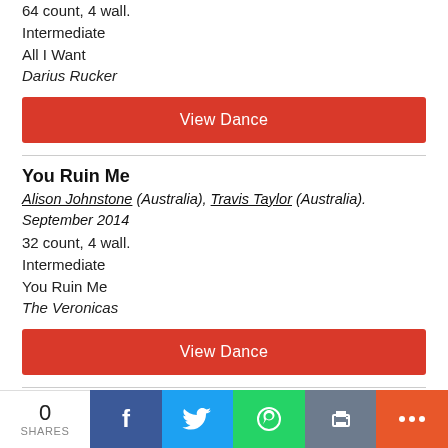64 count, 4 wall.
Intermediate
All I Want
Darius Rucker
View Dance
You Ruin Me
Alison Johnstone (Australia), Travis Taylor (Australia). September 2014
32 count, 4 wall.
Intermediate
You Ruin Me
The Veronicas
View Dance
Even My Dad Does Sometimes
Travis Taylor (Australia), Lu Olsen (Australia).
0 SHARES